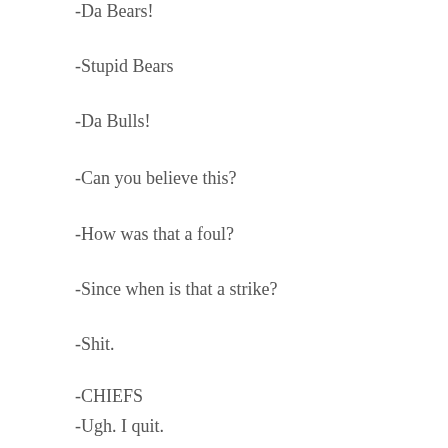-Da Bears!
-Stupid Bears
-Da Bulls!
-Can you believe this?
-How was that a foul?
-Since when is that a strike?
-Shit.
-CHIEFS
-Ugh. I quit.